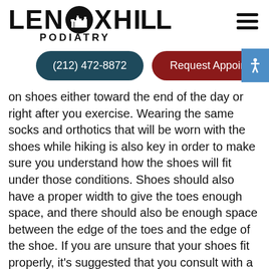[Figure (logo): Lenox Hill Podiatry logo with stylized city skyline icon inside the letter O]
(212) 472-8872
Request Appointment
on shoes either toward the end of the day or right after you exercise. Wearing the same socks and orthotics that will be worn with the shoes while hiking is also key in order to make sure you understand how the shoes will fit under those conditions. Shoes should also have a proper width to give the toes enough space, and there should also be enough space between the edge of the toes and the edge of the shoe. If you are unsure that your shoes fit properly, it’s suggested that you consult with a podiatrist who can examine your feet and offer expert advice.
Finding a properly-fitting shoe is important in reducing injuries and preventing foot problems. For